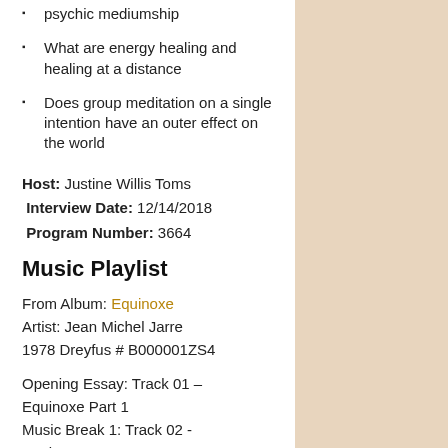psychic mediumship
What are energy healing and healing at a distance
Does group meditation on a single intention have an outer effect on the world
Host: Justine Willis Toms
Interview Date: 12/14/2018
Program Number: 3664
Music Playlist
From Album: Equinoxe
Artist: Jean Michel Jarre
1978 Dreyfus # B000001ZS4
Opening Essay: Track 01 – Equinoxe Part 1
Music Break 1: Track 02 - Equinoxe Part 2
Music Break 2: Track 02 -